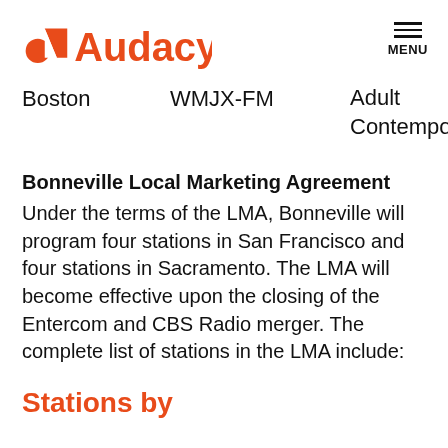Audacy — MENU
Boston   WMJX-FM   Adult Contemporary
Bonneville Local Marketing Agreement
Under the terms of the LMA, Bonneville will program four stations in San Francisco and four stations in Sacramento. The LMA will become effective upon the closing of the Entercom and CBS Radio merger. The complete list of stations in the LMA include:
Stations by